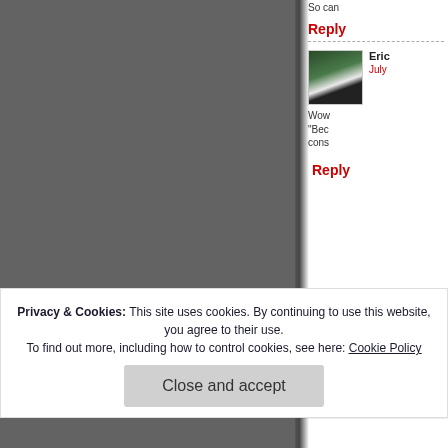[Figure (photo): Dark gray torn-edge photo on left side of page]
So can
Reply
Eric
July
Wow
"Bec
cons
Reply
[Figure (photo): Avatar photo of sam112 - woman with glasses and blonde hair]
sam112
July 7, 2
Ok...tha
good..as
Privacy & Cookies: This site uses cookies. By continuing to use this website, you agree to their use.
To find out more, including how to control cookies, see here: Cookie Policy
Close and accept